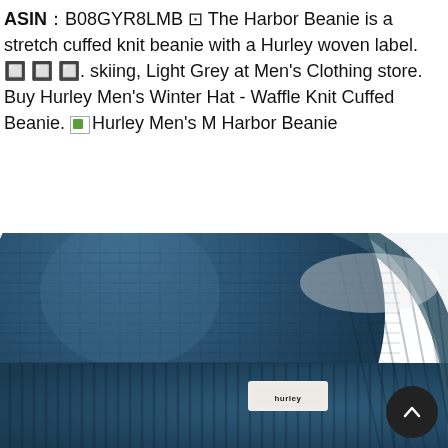ASIN：B08GYR8LMB ⊡ The Harbor Beanie is a stretch cuffed knit beanie with a Hurley woven label. 🔲🔲🔲. skiing, Light Grey at Men's Clothing store. Buy Hurley Men's Winter Hat - Waffle Knit Cuffed Beanie. [image] Hurley Men's M Harbor Beanie
[Figure (photo): Close-up photo of a navy blue Hurley knit beanie showing the ribbed cuff and waffle-knit body, with a small white woven Hurley label visible on the cuff. White background.]